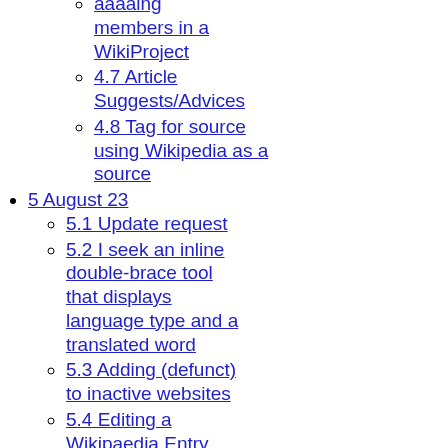(continuing) members in a WikiProject
4.7 Article Suggests/Advices
4.8 Tag for source using Wikipedia as a source
5 August 23
5.1 Update request
5.2 I seek an inline double-brace tool that displays language type and a translated word
5.3 Adding (defunct) to inactive websites
5.4 Editing a Wikipaedia Entry
5.5 Citing Sources When Changes are Requested by Page's Subject
5.6 Eastern and Western Armenian